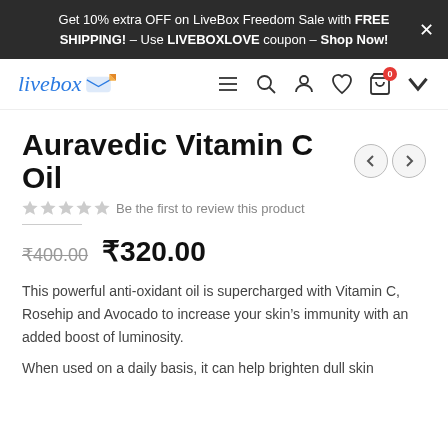Get 10% extra OFF on LiveBox Freedom Sale with FREE SHIPPING! – Use LIVEBOXLOVE coupon – Shop Now!
[Figure (logo): Livebox logo with blue italic text and mail/box icon]
Auravedic Vitamin C Oil
Be the first to review this product
₹400.00  ₹320.00
This powerful anti-oxidant oil is supercharged with Vitamin C, Rosehip and Avocado to increase your skin's immunity with an added boost of luminosity.
When used on a daily basis, it can help brighten dull skin